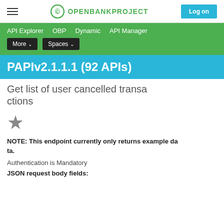OPENBANKPROJECT  Log on
API Explorer   OBP   Dynamic   API Manager   More ▾   Spaces ▾
PAPIv2.1.1.1 (92 APIs)
Get list of user cancelled transactions
[Figure (other): Single star rating icon (dark gray star)]
NOTE: This endpoint currently only returns example data.
Authentication is Mandatory
JSON request body fields: